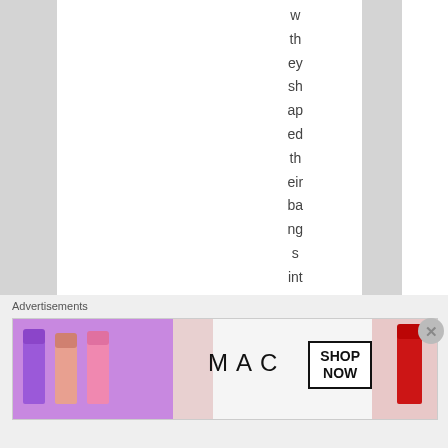w th ey sh ap ed th eir ba ng s int o wa ve s to
[Figure (illustration): Advertisement banner for MAC cosmetics showing lipsticks in purple, peach, pink colors on left side, MAC logo text in center, and a SHOP NOW button on the right]
Advertisements